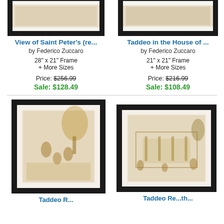[Figure (photo): Framed art print - View of Saint Peter's (top portion cropped)]
[Figure (photo): Framed art print - Taddeo in the House of (top portion cropped)]
View of Saint Peter's (re...
by Federico Zuccaro
28" x 21" Frame
+ More Sizes
Price: $256.99
Sale: $128.49
Taddeo in the House of ...
by Federico Zuccaro
21" x 21" Frame
+ More Sizes
Price: $216.99
Sale: $108.49
[Figure (photo): Framed art print bottom left - figures in landscape scene, sepia drawing]
[Figure (photo): Framed art print bottom right - architectural scene with figures, sepia drawing]
Taddeo R...
Taddeo Re...th...